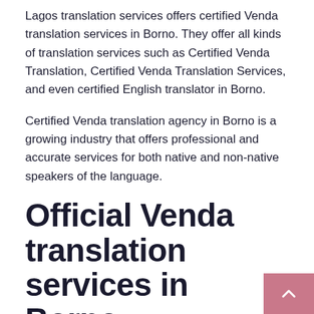Lagos translation services offers certified Venda translation services in Borno. They offer all kinds of translation services such as Certified Venda Translation, Certified Venda Translation Services, and even certified English translator in Borno.
Certified Venda translation agency in Borno is a growing industry that offers professional and accurate services for both native and non-native speakers of the language.
Official Venda translation services in Borno
At Lagos translation services, we are the best at what we do. Our team of Venda translators can translate documents to